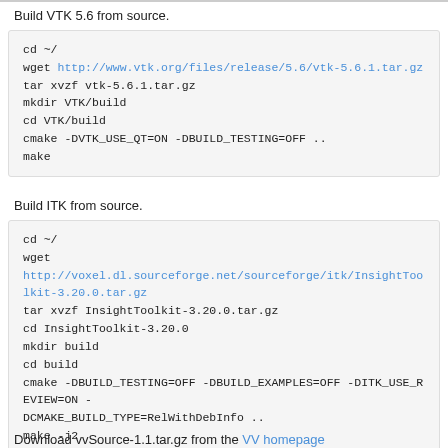Build VTK 5.6 from source.
cd ~/
wget http://www.vtk.org/files/release/5.6/vtk-5.6.1.tar.gz
tar xvzf vtk-5.6.1.tar.gz
mkdir VTK/build
cd VTK/build
cmake -DVTK_USE_QT=ON -DBUILD_TESTING=OFF ..
make
Build ITK from source.
cd ~/
wget
http://voxel.dl.sourceforge.net/sourceforge/itk/InsightToolkit-3.20.0.tar.gz
tar xvzf InsightToolkit-3.20.0.tar.gz
cd InsightToolkit-3.20.0
mkdir build
cd build
cmake -DBUILD_TESTING=OFF -DBUILD_EXAMPLES=OFF -DITK_USE_REVIEW=ON -DCMAKE_BUILD_TYPE=RelWithDebInfo ..
make -j2
Download vvSource-1.1.tar.gz from the VV homepage